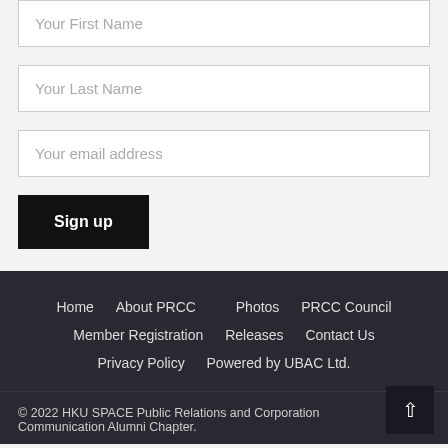Your First Name
Your Last Name
Your email address
Sign up
Home   About PRCC   Photos   PRCC Council   Member Registration   Releases   Contact Us   Privacy Policy   Powered by UBAC Ltd.
© 2022 HKU SPACE Public Relations and Corporation Communication Alumni Chapter.